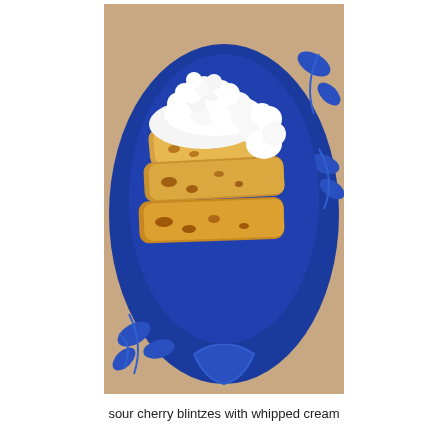[Figure (photo): A blue decorative plate with floral/leaf pattern holds three rolled blintzes (crepes) topped generously with whipped cream. The blintzes are golden-brown and the plate sits on a wooden surface.]
sour cherry blintzes with whipped cream